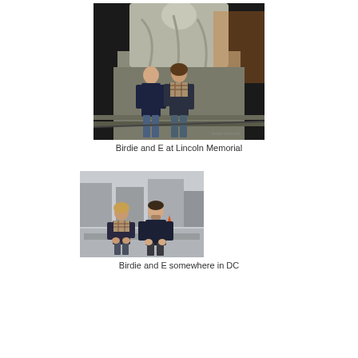[Figure (photo): Two people standing in front of the Lincoln Memorial statue at night. A young man on the left wearing a dark jacket and jeans, and a woman on the right wearing a scarf and dark jacket, posing together with the illuminated Lincoln statue behind them.]
Birdie and E at Lincoln Memorial
[Figure (photo): Two people sitting on steps or a ledge outdoors in Washington DC. A woman on the left wearing a plaid scarf and dark jacket, and a young man on the right wearing a dark sweater, both seated and posing for the camera with construction or city scenery behind them.]
Birdie and E somewhere in DC